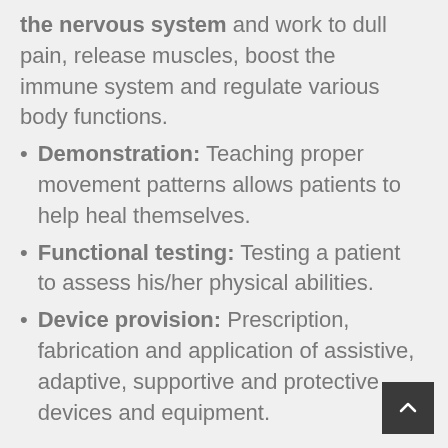the nervous system and work to dull pain, release muscles, boost the immune system and regulate various body functions.
Demonstration: Teaching proper movement patterns allows patients to help heal themselves.
Functional testing: Testing a patient to assess his/her physical abilities.
Device provision: Prescription, fabrication and application of assistive, adaptive, supportive and protective devices and equipment.